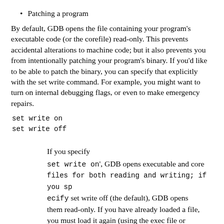Patching a program
By default, GDB opens the file containing your program's executable code (or the corefile) read-only. This prevents accidental alterations to machine code; but it also prevents you from intentionally patching your program's binary. If you'd like to be able to patch the binary, you can specify that explicitly with the set write command. For example, you might want to turn on internal debugging flags, or even to make emergency repairs.
set write on
set write off
If you specify
set write on', GDB opens executable and core files for both reading and writing; if you specify set write off (the default), GDB opens them read-only. If you have already loaded a file, you must load it again (using the exec file or